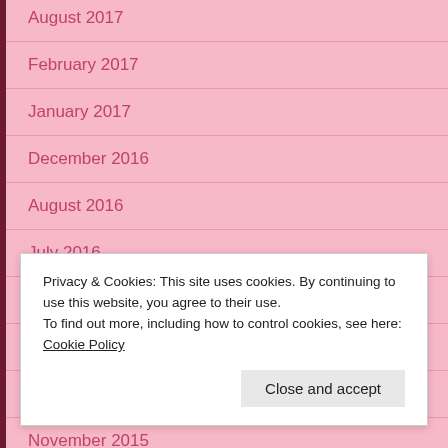August 2017
February 2017
January 2017
December 2016
August 2016
July 2016
February 2016
January 2016
December 2015
November 2015
Privacy & Cookies: This site uses cookies. By continuing to use this website, you agree to their use.
To find out more, including how to control cookies, see here: Cookie Policy
Close and accept